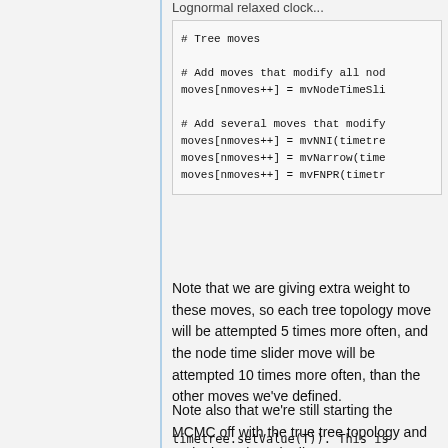Lognormal relaxed clock...
# Tree moves

# Add moves that modify all no...
moves[nmoves++] = mvNodeTimeSli...

# Add several moves that modify...
moves[nmoves++] = mvNNI(timetre...
moves[nmoves++] = mvNarrow(time...
moves[nmoves++] = mvFNPR(timetr...
Note that we are giving extra weight to these moves, so each tree topology move will be attempted 5 times more often, and the node time slider move will be attempted 10 times more often, than the other moves we've defined.
Note also that we're still starting the MCMC off with the true tree topology and node times (see the line
timetree.setValue(T)). This is...